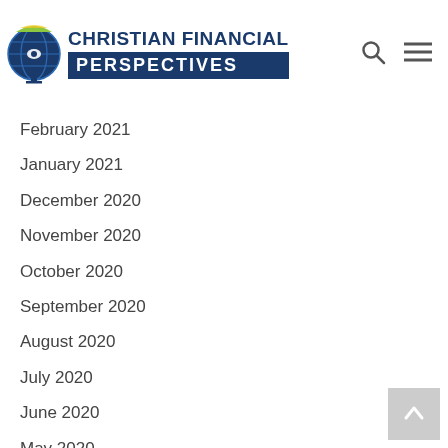Christian Financial Perspectives
February 2021
January 2021
December 2020
November 2020
October 2020
September 2020
August 2020
July 2020
June 2020
May 2020
April 2020
March 2020
February 2020
January 2020